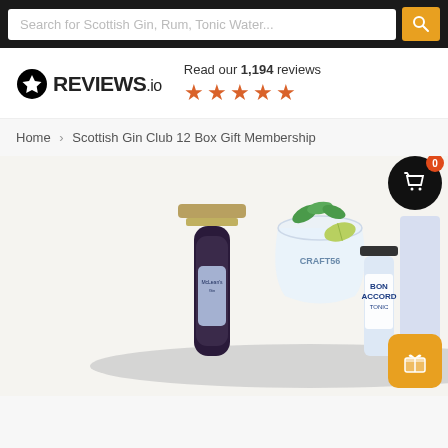Search for Scottish Gin, Rum, Tonic Water...
[Figure (logo): REVIEWS.io logo with star rating badge showing 1,194 reviews and 5 orange stars]
Read our 1,194 reviews
Home › Scottish Gin Club 12 Box Gift Membership
[Figure (photo): Product photo showing McLean's Gin bottle, Craft56 branded cocktail glass with mint and lime, Bon Accord tonic water bottle, and a blue gift box on a silver tray]